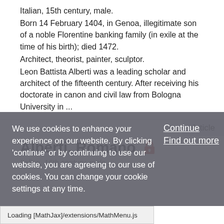Italian, 15th century, male.
Born 14 February 1404, in Genoa, illegitimate son of a noble Florentine banking family (in exile at the time of his birth); died 1472.
Architect, theorist, painter, sculptor.
Leon Battista Alberti was a leading scholar and architect of the fifteenth century. After receiving his doctorate in canon and civil law from Bologna University in ...
Article
Alberti, Romano
We use cookies to enhance your experience on our website. By clicking 'continue' or by continuing to use our website, you are agreeing to our use of cookies. You can change your cookie settings at any time.
Continue
Find out more
Loading [MathJax]/extensions/MathMenu.js